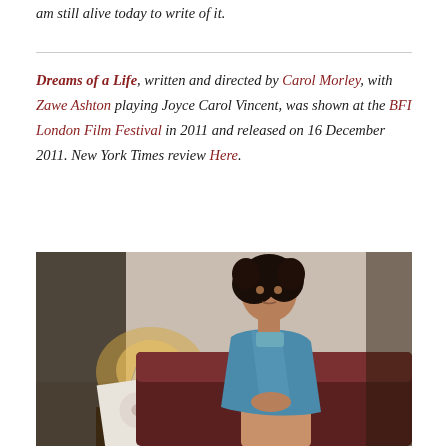am still alive today to write of it.
Dreams of a Life, written and directed by Carol Morley, with Zawe Ashton playing Joyce Carol Vincent, was shown at the BFI London Film Festival in 2011 and released on 16 December 2011. New York Times review Here.
[Figure (photo): A young woman with curly dark hair wearing a blue sleeveless dress sits in a dimly lit room. She has her hands clasped and looks pensively at the camera. In the background there is a lamp and a record sleeve on a table.]